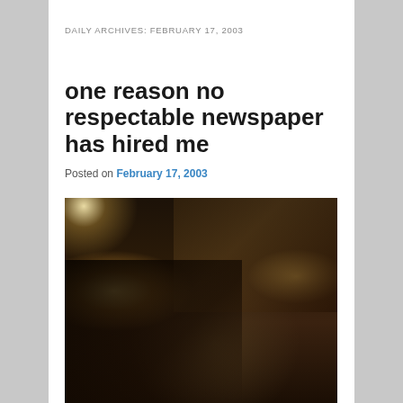DAILY ARCHIVES: FEBRUARY 17, 2003
one reason no respectable newspaper has hired me
Posted on February 17, 2003
[Figure (photo): Indoor event or performance scene. Foreground shows dark silhouetted figures including a person with long dark hair and another kneeling. Background shows a crowd of audience members seated, illuminated by stage lighting on the left and right sides of the frame.]